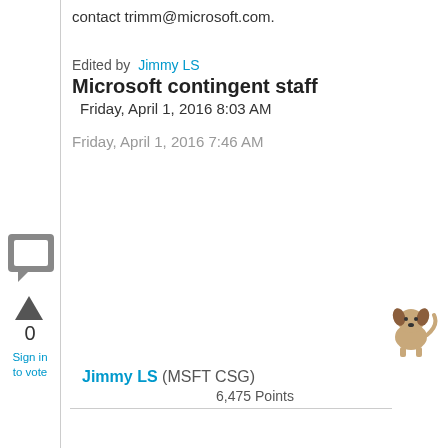contact trimm@microsoft.com.
Edited by Jimmy LS
Microsoft contingent staff
Friday, April 1, 2016 8:03 AM
Friday, April 1, 2016 7:46 AM
[Figure (illustration): User avatar image of a small dog or animal figure]
Jimmy LS (MSFT CSG) 6,475 Points
[Figure (illustration): Chat/comment icon square with speech bubble]
[Figure (illustration): Upvote triangle arrow icon]
0
Sign in to vote